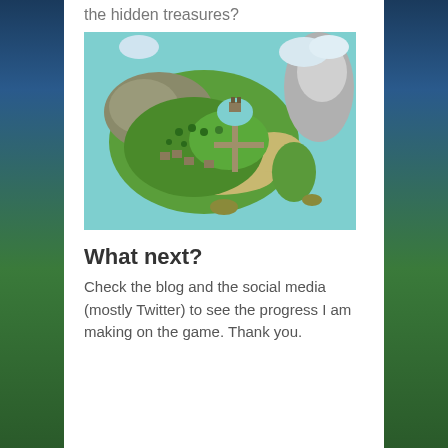the hidden treasures?
[Figure (map): Top-down fantasy game world map showing islands with green terrain, mountains, buildings, roads, and water surrounding the landmasses]
What next?
Check the blog and the social media (mostly Twitter) to see the progress I am making on the game. Thank you.